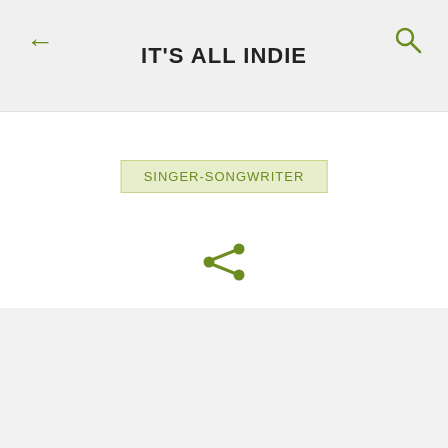IT'S ALL INDIE
SINGER-SONGWRITER
[Figure (other): Share icon (network share symbol) in olive/dark green color]